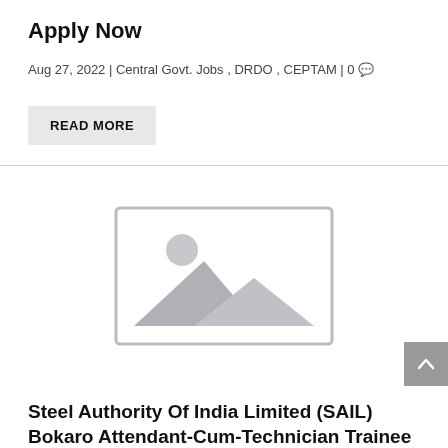Apply Now
Aug 27, 2022 | Central Govt. Jobs , DRDO , CEPTAM | 0
READ MORE
[Figure (photo): Placeholder image with mountain/landscape icon in grey]
Steel Authority Of India Limited (SAIL) Bokaro Attendant-Cum-Technician Trainee